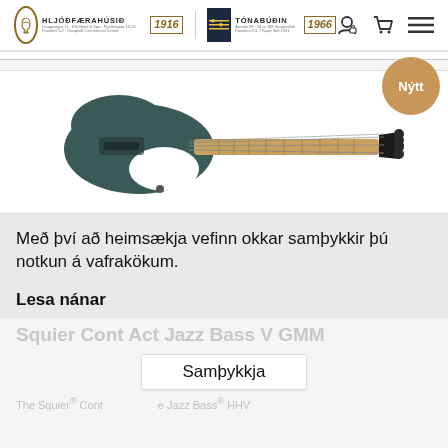Hljóðfærahúsið 1916 | Tónabúðin 1966
[Figure (photo): Electric bass guitar (teal/dark blue color) with maple neck against white background. A gold/tan circular badge in upper right reads 'Nýtt' (meaning 'New' in Icelandic).]
Með því að heimsækja vefinn okkar samþykkir þú notkun á vafrakökum.
Lesa nánar
Squier Cont Act Jazz Bass V GMM
Samþykkja
The Squier® Cont                  e Jazz Bass® HHV